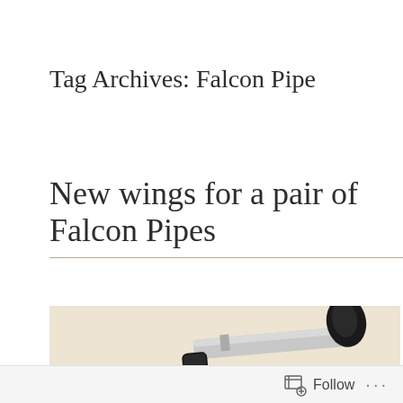Tag Archives: Falcon Pipe
New wings for a pair of Falcon Pipes
[Figure (photo): Close-up photo of a Falcon pipe showing the metal shank and dark mouthpiece/bowl against a light cream background]
Follow ...